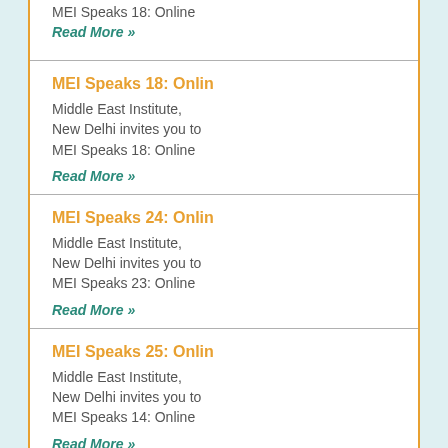MEI Speaks 18: Online
Read More »
MEI Speaks 18: Onlin
Middle East Institute, New Delhi invites you to MEI Speaks 18: Online
Read More »
MEI Speaks 24: Onlin
Middle East Institute, New Delhi invites you to MEI Speaks 23: Online
Read More »
MEI Speaks 25: Onlin
Middle East Institute, New Delhi invites you to MEI Speaks 14: Online
Read More »